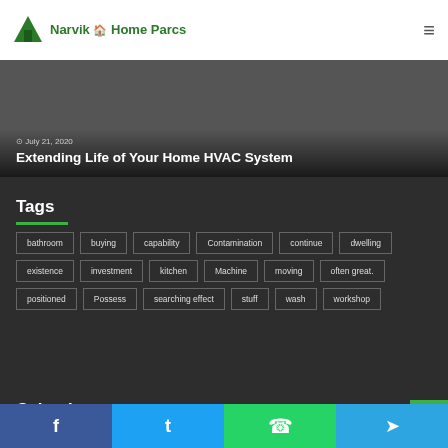Narvik Home Parcs
[Figure (screenshot): Hero image showing people in living room, overlaid with date July 21, 2020 and article title]
Extending Life of Your Home HVAC System
Tags
bathroom
buying
capability
Contamination
continue
dwelling
existence
investment
kitchen
Machine
moving
often great.
positioned
Possess
searching effect
stuff
wash
workshop
Calendar